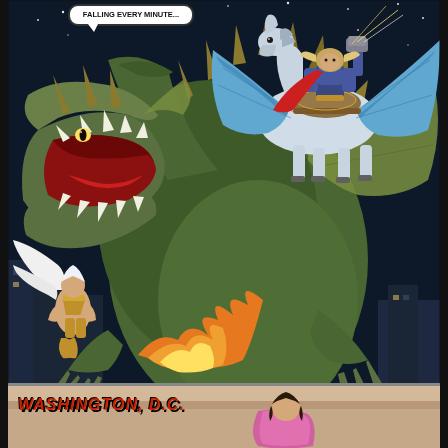[Figure (illustration): Comic book page panel showing a large dragon/monster with open jaws full of teeth roaring, while a winged horse (Pegasus) with an armored rider (Thor-like character with hammer) battles it above rooftops at night with stars visible. A female figure with white wings and gold armor is also visible at the lower left. Speech bubble at top reads 'FALLING EVERY MINUTE...' A bottom inset panel shows a character in Washington D.C.]
FALLING EVERY MINUTE...
WASHINGTON, D.C.